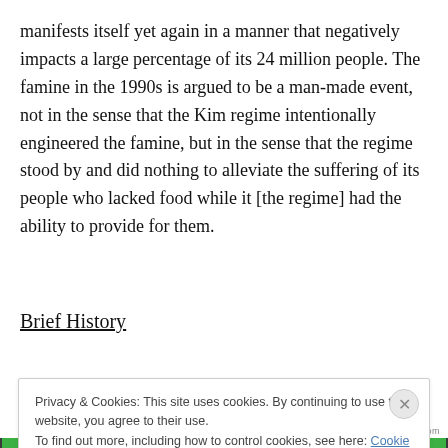manifests itself yet again in a manner that negatively impacts a large percentage of its 24 million people. The famine in the 1990s is argued to be a man-made event, not in the sense that the Kim regime intentionally engineered the famine, but in the sense that the regime stood by and did nothing to alleviate the suffering of its people who lacked food while it [the regime] had the ability to provide for them.
Brief History
[truncated line partially obscured by cookie banner]
Privacy & Cookies: This site uses cookies. By continuing to use this website, you agree to their use.
To find out more, including how to control cookies, see here: Cookie Policy